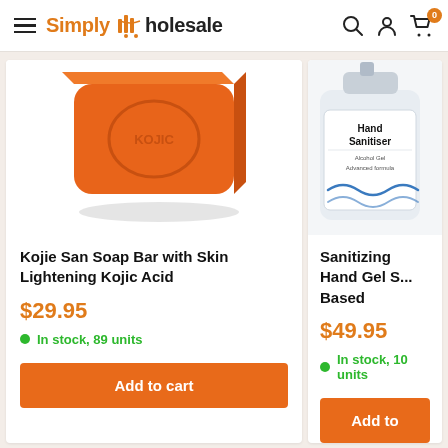Simply Wholesale
[Figure (photo): Orange Kojie San soap bar with KOJIC branding embossed on it]
Kojie San Soap Bar with Skin Lightening Kojic Acid
$29.95
In stock, 89 units
Add to cart
[Figure (photo): Hand Sanitiser bottle - Alcohol Gel Advanced formula]
Sanitizing Hand Gel S... Based
$49.95
In stock, 10 units
Add to